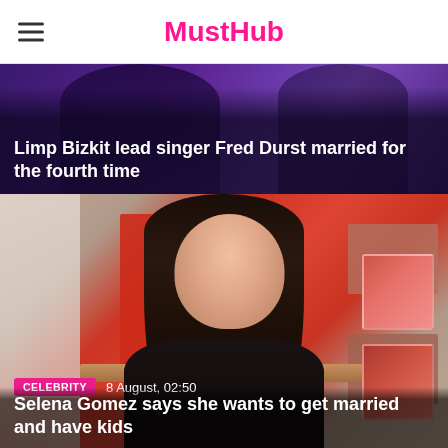MustHub
Limp Bizkit lead singer Fred Durst married for the fourth time
[Figure (photo): Photo of Fred Durst in purple lighting at a concert or event background]
CELEBRITY  8 August, 02:50
Selena Gomez says she wants to get married and have kids
[Figure (photo): Photo of Selena Gomez smiling in a black outfit against a red and white studio background, with smaller photos of her on the right side]